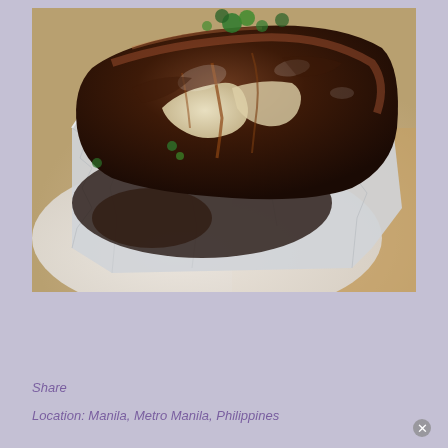[Figure (photo): Close-up photo of glazed pork ribs in aluminum foil on a white plate, garnished with fresh herbs, on a wooden surface background]
Share
Location: Manila, Metro Manila, Philippines